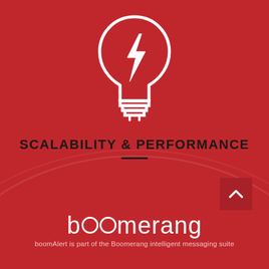[Figure (illustration): White outline lightbulb icon with a lightning bolt inside, on a red background]
SCALABILITY & PERFORMANCE
[Figure (other): Dark red square button with a white upward-pointing chevron (scroll-to-top button)]
boomerang
boomAlert is part of the Boomerang intelligent messaging suite